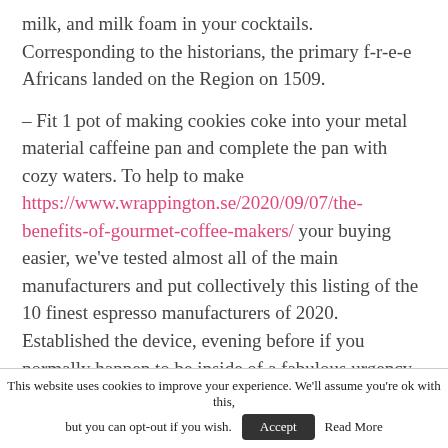milk, and milk foam in your cocktails. Corresponding to the historians, the primary f-r-e-e Africans landed on the Region on 1509.
– Fit 1 pot of making cookies coke into your metal material caffeine pan and complete the pan with cozy waters. To help to make https://www.wrappington.se/2020/09/07/the-benefits-of-gourmet-coffee-makers/ your buying easier, we've tested almost all of the main manufacturers and put collectively this listing of the 10 finest espresso manufacturers of 2020. Established the device, evening before if you normally happen to be inside of a fabulous urgency inside of the day time to preserve moment the. If
This website uses cookies to improve your experience. We'll assume you're ok with this, but you can opt-out if you wish. Accept Read More